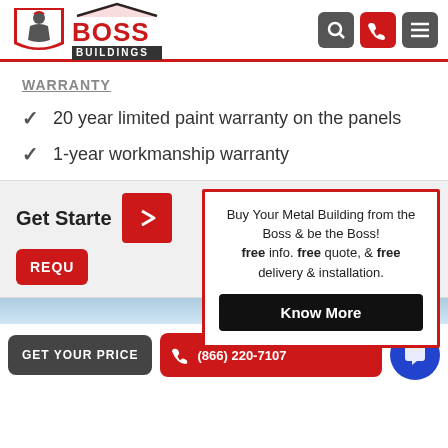[Figure (logo): Boss Buildings logo with warrior helmet icon, red BOSS text, and dark BUILDINGS banner]
WARRANTY
20 year limited paint warranty on the panels
1-year workmanship warranty
Get Started
REQU
Buy Your Metal Building from the Boss & be the Boss! free info. free quote, & free delivery & installation.
Know More
GET YOUR PRICE
(866) 220-7107